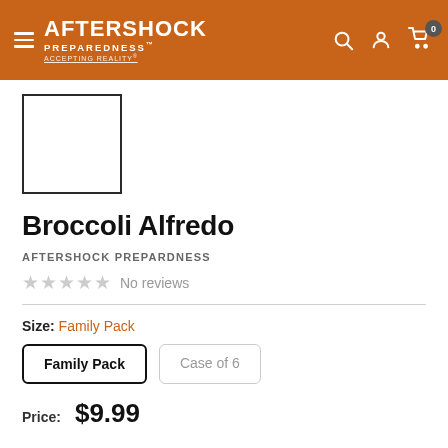AFTERSHOCK PREPAREDNESS® — ACCEPTING REALITY®
[Figure (other): Empty white product thumbnail image box with dark border]
Broccoli Alfredo
AFTERSHOCK PREPARDNESS
No reviews
Size: Family Pack
Family Pack
Case of 6
Price: $9.99